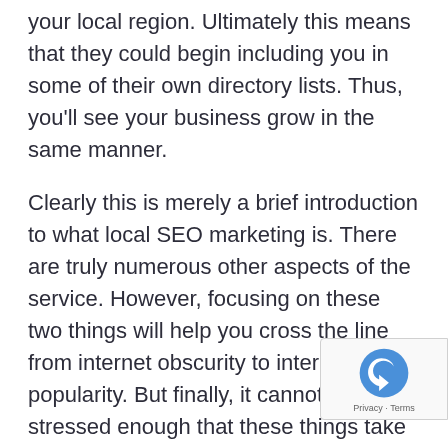your local region. Ultimately this means that they could begin including you in some of their own directory lists. Thus, you'll see your business grow in the same manner.
Clearly this is merely a brief introduction to what local SEO marketing is. There are truly numerous other aspects of the service. However, focusing on these two things will help you cross the line from internet obscurity to internet popularity. But finally, it cannot be stressed enough that these things take time and patience to work their magic. But in the end, you'll find your business in a much better place marketing-wise than it was before you started.